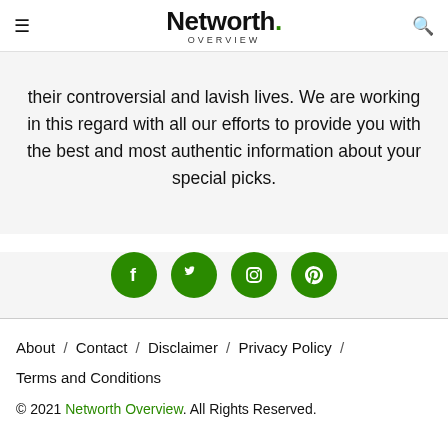Networth. OVERVIEW
their controversial and lavish lives. We are working in this regard with all our efforts to provide you with the best and most authentic information about your special picks.
[Figure (infographic): Four green circular social media icons: Facebook, Twitter, Instagram, Pinterest]
About / Contact / Disclaimer / Privacy Policy / Terms and Conditions
© 2021 Networth Overview. All Rights Reserved.